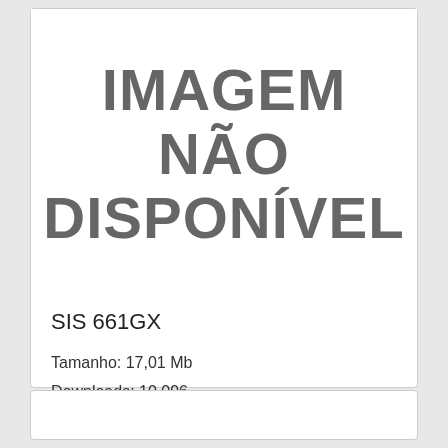[Figure (illustration): Placeholder image area with text 'IMAGEM NÃO DISPONÍVEL' (Image Not Available) in large bold gray letters on white background]
SIS 661GX
Tamanho: 17,01 Mb
Downloads: 10.096
Sistemas: 98 2K XP XP64